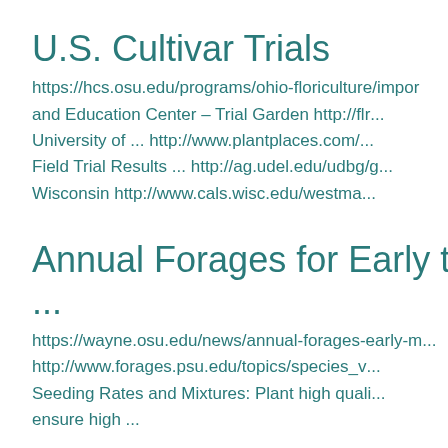U.S. Cultivar Trials
https://hcs.osu.edu/programs/ohio-floriculture/impor... and Education Center – Trial Garden http://flr... University of ... http://www.plantplaces.com/... Field Trial Results ... http://ag.udel.edu/udbg/g... Wisconsin http://www.cals.wisc.edu/westma...
Annual Forages for Early to Mid-Sur...
https://wayne.osu.edu/news/annual-forages-early-m... http://www.forages.psu.edu/topics/species_v... Seeding Rates and Mixtures: Plant high quali... ensure high ...
Bioinformatic Tools